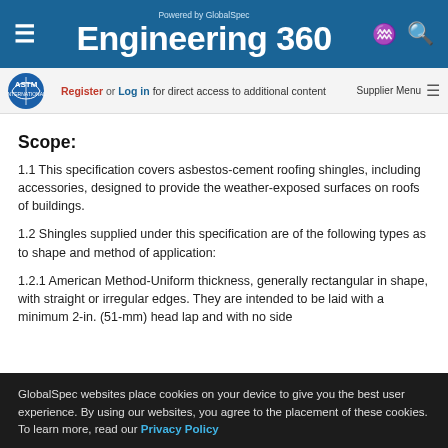Powered by GlobalSpec Engineering 360
Register or Log in for direct access to additional content | Supplier Menu
Scope:
1.1 This specification covers asbestos-cement roofing shingles, including accessories, designed to provide the weather-exposed surfaces on roofs of buildings.
1.2 Shingles supplied under this specification are of the following types as to shape and method of application:
1.2.1 American Method-Uniform thickness, generally rectangular in shape, with straight or irregular edges. They are intended to be laid with a minimum 2-in. (51-mm) head lap and with no side lap and with the…
GlobalSpec websites place cookies on your device to give you the best user experience. By using our websites, you agree to the placement of these cookies. To learn more, read our Privacy Policy